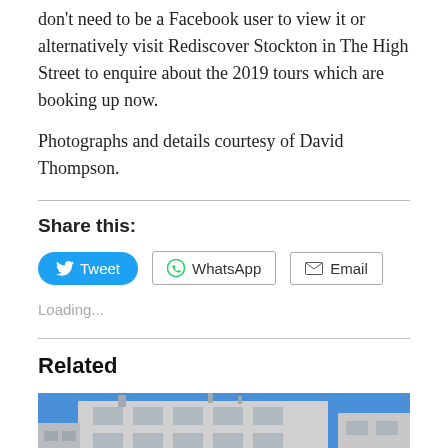don't need to be a Facebook user to view it or alternatively visit Rediscover Stockton in The High Street to enquire about the 2019 tours which are booking up now.
Photographs and details courtesy of David Thompson.
Share this:
[Figure (other): Share buttons row: Tweet (Twitter/blue rounded), WhatsApp (outlined), Email (outlined)]
Loading...
Related
[Figure (photo): Photograph of a white/grey multi-storey building facade against a blue sky, partially cropped]